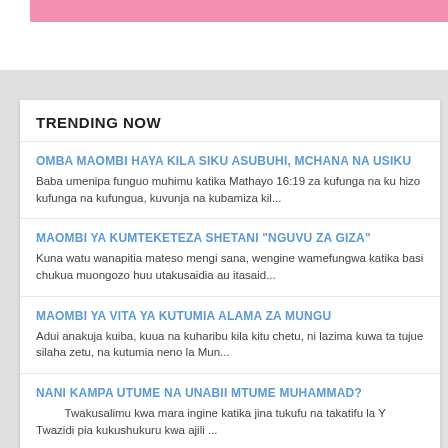TRENDING NOW
OMBA MAOMBI HAYA KILA SIKU ASUBUHI, MCHANA NA USIKU
Baba umenipa funguo muhimu katika Mathayo 16:19 za kufunga na ku hizo kufunga na kufungua, kuvunja na kubamiza kil...
MAOMBI YA KUMTEKETEZA SHETANI "NGUVU ZA GIZA"
Kuna watu wanapitia mateso mengi sana, wengine wamefungwa katika basi chukua muongozo huu utakusaidia au itasaid...
MAOMBI YA VITA YA KUTUMIA ALAMA ZA MUNGU
Adui anakuja kuiba, kuua na kuharibu kila kitu chetu, ni lazima kuwa ta tujue silaha zetu, na kutumia neno la Mun...
NANI KAMPA UTUME NA UNABII MTUME MUHAMMAD?
Twakusalimu kwa mara ingine katika jina tukufu na takatifu la Y Twazidi pia kukushukuru kwa ajili ...